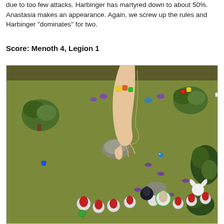due to too few attacks. Harbinger has martyred down to about 50%. Anastasia makes an appearance. Again, we screw up the rules and Harbinger “dominates” for two.
Score: Menoth 4, Legion 1
[Figure (photo): Overhead view of a tabletop miniature wargame in progress. A green felt game mat with terrain pieces (trees, rocks), painted miniature figures (red and white), dice, and tokens. A human hand is visible reaching across the board.]